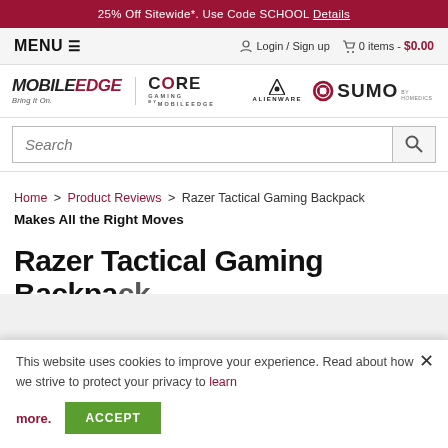25% Off Sitewide*. Use Code SCHOOL Details
MENU ☰   Login / Sign up   🛒 0 items - $0.00
[Figure (logo): MOBILE EDGE Bring It On. | CORE GAMING by MOBILEEDGE | ALIENWARE | SUMO by Homedics logos]
Search
Home > Product Reviews > Razer Tactical Gaming Backpack Makes All the Right Moves
Razer Tactical Gaming Backpack
This website uses cookies to improve your experience. Read about how we strive to protect your privacy to learn more.
ACCEPT